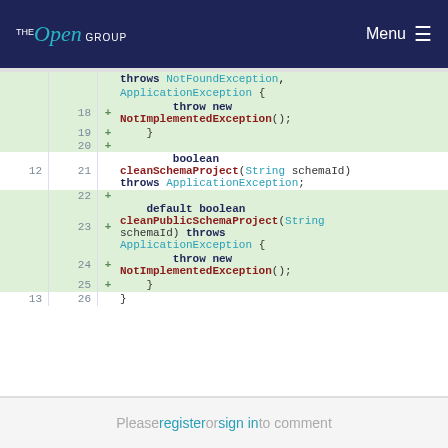The Open Group — Menu
[Figure (screenshot): Code diff view showing Java interface methods with line numbers. Lines 18-20 are added (green background) showing 'throw new NotImplementedException();' and closing brace. Lines 12/21 show 'boolean cleanSchemaProject(String schemaId) throws ApplicationException;'. Lines 22-25 added showing 'default boolean cleanPublicSchemaProject(String schemaId) throws ApplicationException { throw new NotImplementedException(); }'. Line 13/26 shows closing brace.]
Please register or sign in to comment